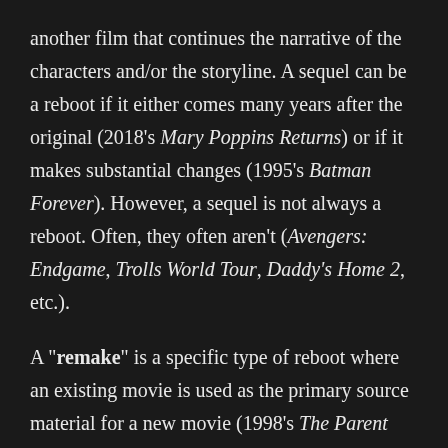another film that continues the narrative of the characters and/or the storyline. A sequel can be a reboot if it either comes many years after the original (2018's Mary Poppins Returns) or if it makes substantial changes (1995's Batman Forever). However, a sequel is not always a reboot. Often, they often aren't (Avengers: Endgame, Trolls World Tour, Daddy's Home 2, etc.).
A "remake" is a specific type of reboot where an existing movie is used as the primary source material for a new movie (1998's The Parent Trap, 2019's The Lion King). It usually takes place in a separate